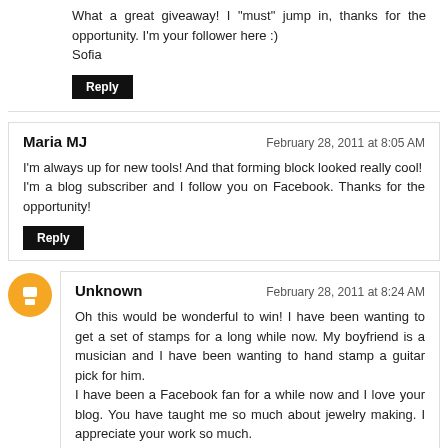What a great giveaway! I "must" jump in, thanks for the opportunity. I'm your follower here :)
Sofia
Reply
Maria MJ
February 28, 2011 at 8:05 AM
I'm always up for new tools! And that forming block looked really cool!
I'm a blog subscriber and I follow you on Facebook. Thanks for the opportunity!
Reply
Unknown
February 28, 2011 at 8:24 AM
Oh this would be wonderful to win! I have been wanting to get a set of stamps for a long while now. My boyfriend is a musician and I have been wanting to hand stamp a guitar pick for him.
I have been a Facebook fan for a while now and I love your blog. You have taught me so much about jewelry making. I appreciate your work so much.